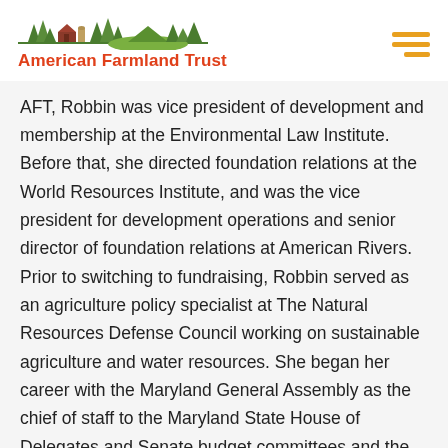American Farmland Trust
AFT, Robbin was vice president of development and membership at the Environmental Law Institute. Before that, she directed foundation relations at the World Resources Institute, and was the vice president for development operations and senior director of foundation relations at American Rivers. Prior to switching to fundraising, Robbin served as an agriculture policy specialist at The Natural Resources Defense Council working on sustainable agriculture and water resources. She began her career with the Maryland General Assembly as the chief of staff to the Maryland State House of Delegates and Senate budget committees and the Special Joint Committee on Program Open Space and Agricultural Land Preservation. Robbin holds on